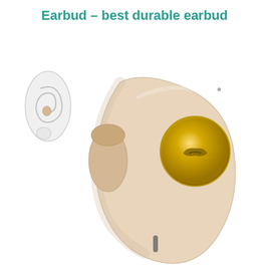Earbud – best durable earbud
[Figure (photo): Product photo of a beige/cream colored wireless earbud shown in close-up with a gold metallic button on the face. A small inset icon in the upper left shows the earbud worn in a human ear (white/silver illustration). The earbud has a rounded ergonomic shell with an ear tip nozzle and a charging port slot on the bottom.]